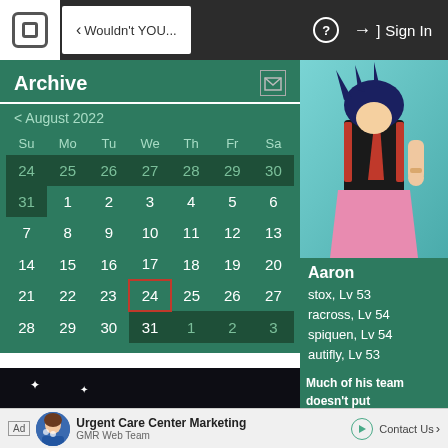< Wouldn't YOU... | ? | Sign In
Archive
< August 2022
| Su | Mo | Tu | We | Th | Fr | Sa |
| --- | --- | --- | --- | --- | --- | --- |
| 24 | 25 | 26 | 27 | 28 | 29 | 30 |
| 31 | 1 | 2 | 3 | 4 | 5 | 6 |
| 7 | 8 | 9 | 10 | 11 | 12 | 13 |
| 14 | 15 | 16 | 17 | 18 | 19 | 20 |
| 21 | 22 | 23 | 24* | 25 | 26 | 27 |
| 28 | 29 | 30 | 31 | 1 | 2 | 3 |
[Figure (illustration): Pokemon game screenshot showing a female trainer character in black and red outfit with pink skirt against a teal background.]
Aaron
stox, Lv 53
racross, Lv 54
spiquen, Lv 54
autifly, Lv 53
ipon, Lv 57
Much of his team doesn't put
Ad  Urgent Care Center Marketing | GMR Web Team  Contact Us >